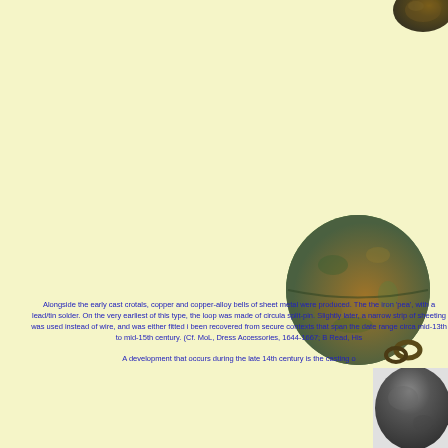[Figure (photo): Partial view of a corroded metal artifact (crotal bell fragment) at top right corner]
[Figure (photo): A round copper-alloy sheet metal crotal bell with loop, showing green patina and corrosion, positioned at right side middle]
Alongside the early cast crotals, copper and copper-alloy bells of sheet metal were produced. The the iron 'pea', with a lead/tin solder. On the very earliest of this type, the loop was made of circula split-pin. Slightly later, a narrow strip of sheeting was used instead of wire, and was either fitted i been recovered from secure contexts that span the date range circa mid-13th to mid-15th century. (Cf. MoL, Dress Accessories, 1644-1667; B Read, His A development that occurs during the late 14th century is the casting o
[Figure (photo): Partial view of a dark metal artifact (crotal bell) at bottom right corner]